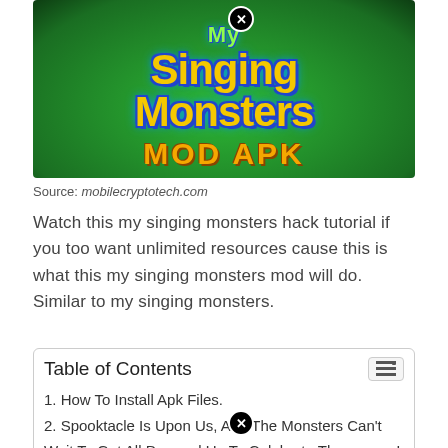[Figure (illustration): My Singing Monsters MOD APK logo image with colorful stylized text on a green background]
Source: mobilecryptotech.com
Watch this my singing monsters hack tutorial if you too want unlimited resources cause this is what this my singing monsters mod will do. Similar to my singing monsters.
| Table of Contents |
| --- |
| 1. How To Install Apk Files. |
| 2. Spooktacle Is Upon Us, And The Monsters Can't Wait To Get All Dressed Up To Celebrate The season! |